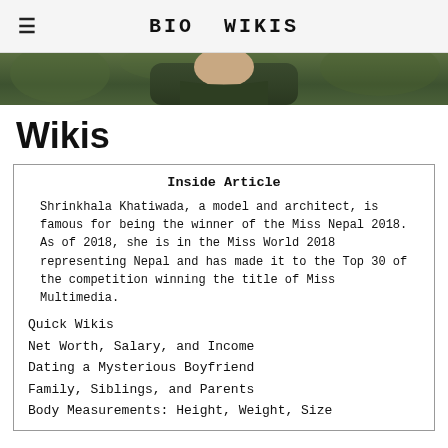≡   BIO WIKIS
[Figure (photo): Partial photo of a person wearing a dark olive/green jacket outdoors with blurred green background]
Wikis
Inside Article
Shrinkhala Khatiwada, a model and architect, is famous for being the winner of the Miss Nepal 2018. As of 2018, she is in the Miss World 2018 representing Nepal and has made it to the Top 30 of the competition winning the title of Miss Multimedia.
Quick Wikis
Net Worth, Salary, and Income
Dating a Mysterious Boyfriend
Family, Siblings, and Parents
Body Measurements: Height, Weight, Size